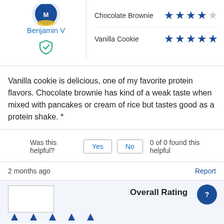Benjamin V
[Figure (illustration): Verified reviewer checkmark shield icon in teal/green outline]
Chocolate Brownie — 4 out of 5 stars
Vanilla Cookie — 5 out of 5 stars
Vanilla cookie is delicious, one of my favorite protein flavors. Chocolate brownie has kind of a weak taste when mixed with pancakes or cream of rice but tastes good as a protein shake. *
Was this helpful?  Yes  No  0 of 0 found this helpful
2 months ago
Report
Overall Rating